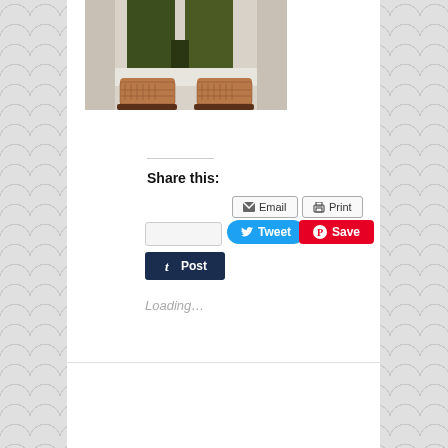[Figure (photo): Bottom half of person wearing olive/dark green pants and tan/brown perforated oxford shoes, photographed against a light wall]
Share this:
Email  Print
Tweet  Save  Post
Loading...
Comments: 0
Posted by: whengoodgirlsgobroke
Categories: Uncategorized